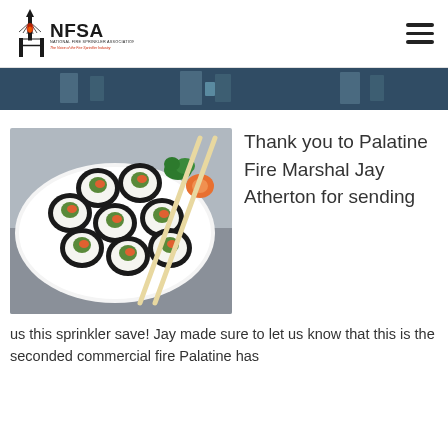NFSA - National Fire Sprinkler Association - The Voice of the Fire Sprinkler Industry
[Figure (photo): Sushi rolls on a white plate with chopsticks, garnished with herbs and a carved carrot flower]
Thank you to Palatine Fire Marshal Jay Atherton for sending us this sprinkler save! Jay made sure to let us know that this is the seconded commercial fire Palatine has
[Figure (photo): Dark banner strip showing a building interior, partially cropped]